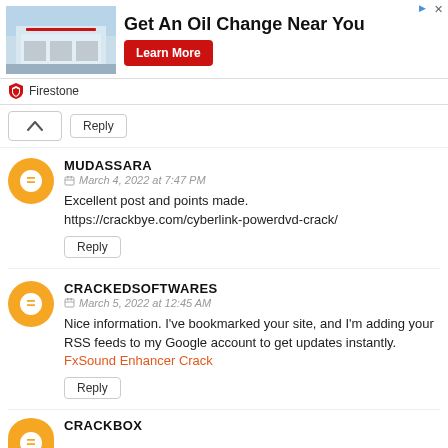[Figure (screenshot): Firestone advertisement banner: 'Get An Oil Change Near You' with Learn More button and Firestone branding]
Reply
MUDASSARA
March 4, 2022 at 7:47 PM
Excellent post and points made.
https://crackbye.com/cyberlink-powerdvd-crack/
Reply
CRACKEDSOFTWARES
March 5, 2022 at 12:45 AM
Nice information. I've bookmarked your site, and I'm adding your RSS feeds to my Google account to get updates instantly.
FxSound Enhancer Crack
Reply
CRACKBOX